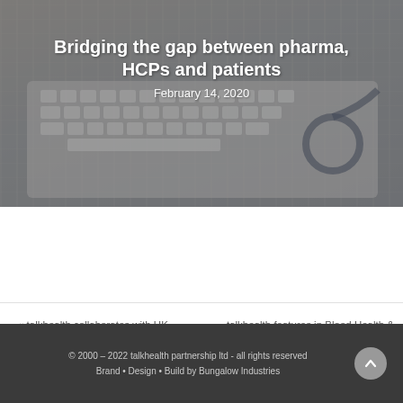[Figure (photo): Hero image of hands typing on a keyboard with a stethoscope in the background, featuring overlaid white text with article title and date]
Bridging the gap between pharma, HCPs and patients
February 14, 2020
« talkhealth collaborates with UK Health Coaches Association
talkhealth features in Blood Health & Urological HealthCampaigns »
© 2000 – 2022 talkhealth partnership ltd - all rights reserved
Brand • Design • Build by Bungalow Industries